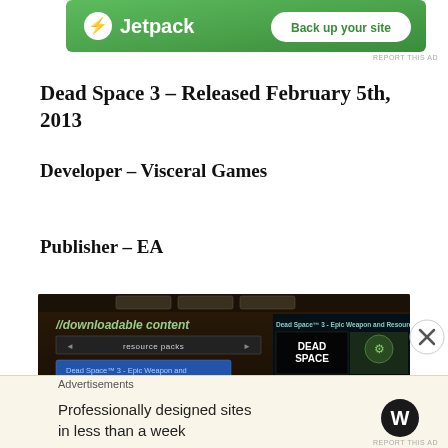[Figure (screenshot): Jetpack advertisement banner with green background, lightning bolt logo, and 'Back up your site' button]
REPORT THIS AD
Dead Space 3 – Released February 5th, 2013
Developer – Visceral Games
Publisher – EA
[Figure (screenshot): Dead Space 3 in-game downloadable content screen showing resource packs menu and Epic Weapon and Resource Pack description]
Advertisements
[Figure (screenshot): WordPress advertisement: Professionally designed sites in less than a week with WordPress logo]
REPORT THIS AD